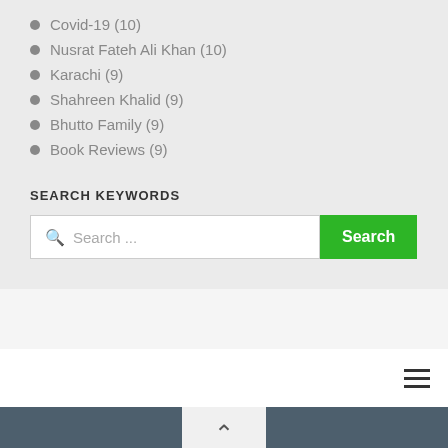Covid-19 (10)
Nusrat Fateh Ali Khan (10)
Karachi (9)
Shahreen Khalid (9)
Bhutto Family (9)
Book Reviews (9)
SEARCH KEYWORDS
Search ...
[Figure (screenshot): Hamburger menu icon (three horizontal lines)]
[Figure (screenshot): Chevron up arrow in a light grey box]
[Figure (logo): Red box with partial white text/logo at bottom]